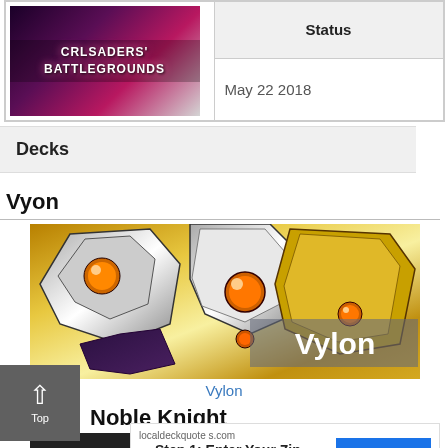[Figure (screenshot): Crusaders' Battlegrounds game banner image with pink/purple gradient and white text]
|  | Status |
| --- | --- |
| [Crusaders' Battlegrounds image] | May 22 2018 |
Decks
Vyon
[Figure (illustration): Vyon card artwork showing gold and silver armored figure with orange orb details, with 'Vylon' text overlay]
Vylon
Noble Knight
[Figure (screenshot): Advertisement: localdeckquotes.com - Step 1: Enter Your Zip Code with GET QUOTE button]